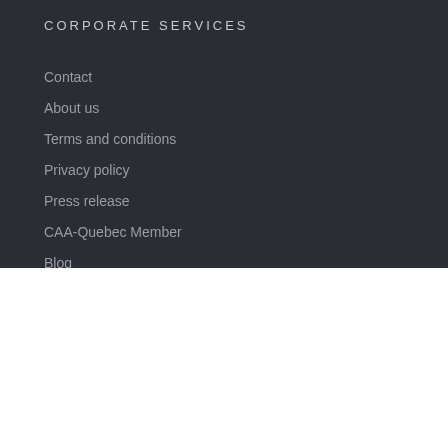CORPORATE SERVICES
Contact
About us
Terms and conditions
Privacy policy
Press release
CAA-Quebec Member
Blog
Careers
By continuing to browse this site, you agree to the storing of cookies on your device to enhance site navigation, analyze site usage, and assist in our marketing efforts. You can refuse the cookies by modifying the Cookies Parameters. Learn more
Cookies Settings